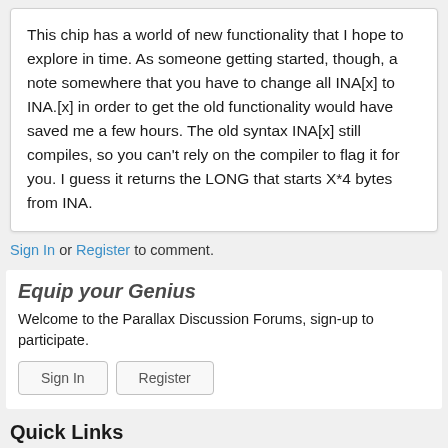This chip has a world of new functionality that I hope to explore in time. As someone getting started, though, a note somewhere that you have to change all INA[x] to INA.[x] in order to get the old functionality would have saved me a few hours. The old syntax INA[x] still compiles, so you can't rely on the compiler to flag it for you. I guess it returns the LONG that starts X*4 bytes from INA.
Sign In or Register to comment.
Equip your Genius
Welcome to the Parallax Discussion Forums, sign-up to participate.
Sign In   Register
Quick Links
Categories
Recent Discussions